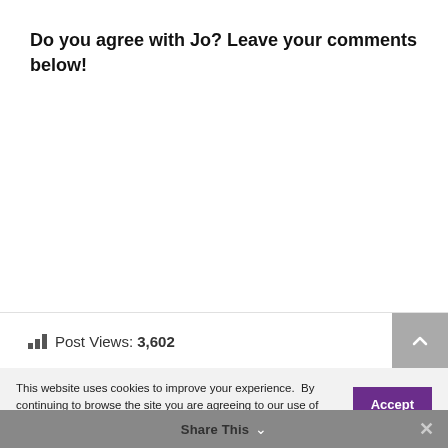Do you agree with Jo? Leave your comments below!
Post Views: 3,602
This website uses cookies to improve your experience. By continuing to browse the site you are agreeing to our use of cookies.
Share This